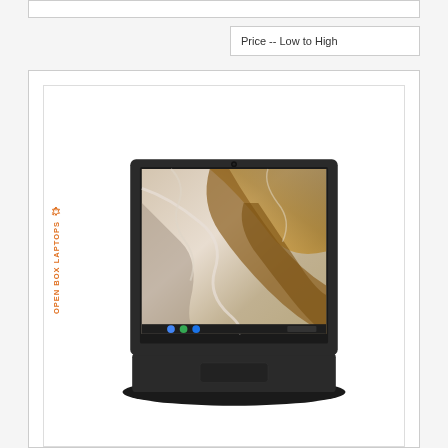Price -- Low to High
[Figure (photo): A Lenovo Chromebook laptop open at an angle, showing a decorative marble/gold wallpaper on screen, with Chrome OS taskbar visible at the bottom. The laptop is dark grey/black. An orange 'OPEN BOX LAPTOPS' label with a recycling icon appears on the left side of the product card.]